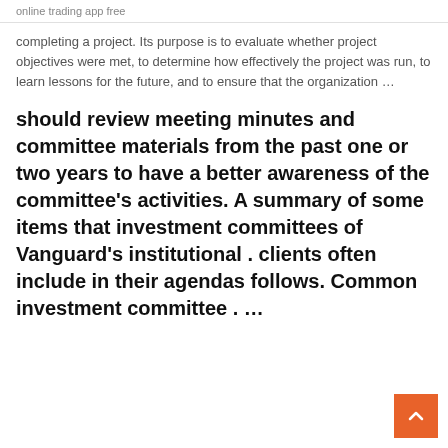online trading app free
completing a project. Its purpose is to evaluate whether project objectives were met, to determine how effectively the project was run, to learn lessons for the future, and to ensure that the organization …
should review meeting minutes and committee materials from the past one or two years to have a better awareness of the committee's activities. A summary of some items that investment committees of Vanguard's institutional . clients often include in their agendas follows. Common investment committee . …